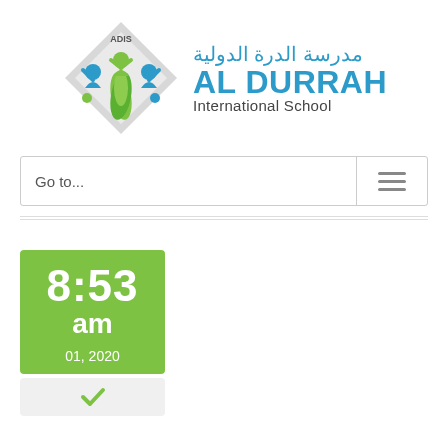[Figure (logo): Al Durrah International School logo with ADIS badge and colorful figures inside a diamond shape, alongside Arabic and English school name]
Go to...
[Figure (infographic): Green time card showing 8:53 am, 01, 2020]